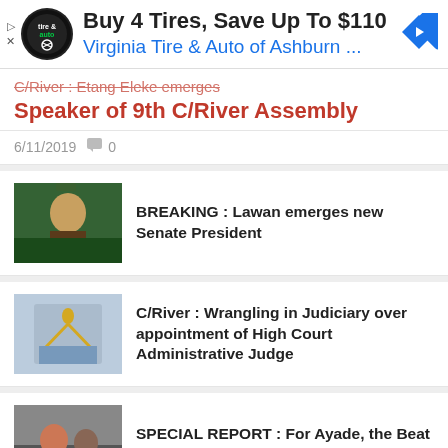[Figure (screenshot): Advertisement banner: tire and auto logo, text 'Buy 4 Tires, Save Up To $110', subtitle 'Virginia Tire & Auto of Ashburn ...' with navigation arrow icon]
Speaker of 9th C/River Assembly
6/11/2019  0
BREAKING : Lawan emerges new Senate President
C/River : Wrangling in Judiciary over appointment of High Court Administrative Judge
SPECIAL REPORT : For Ayade, the Beat Never Stops